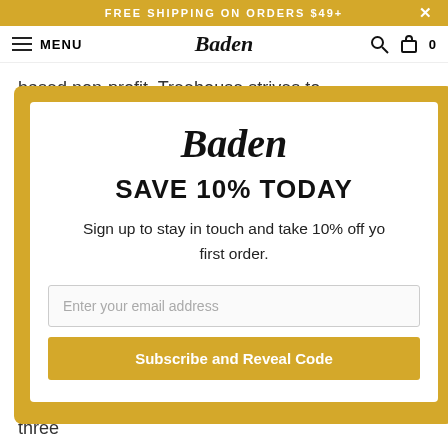FREE SHIPPING ON ORDERS $49+
MENU  Baden  0
based non-profit. Treehouse strives to
[Figure (screenshot): Baden Sports email signup modal popup with gold border, Baden logo, 'SAVE 10% TODAY' headline, email input field, and 'Subscribe and Reveal Code' button]
remember at the age of four dribbling everywhere I went. Since that day my life has changed in a tremendously positive way... it's taken me to thirty-three